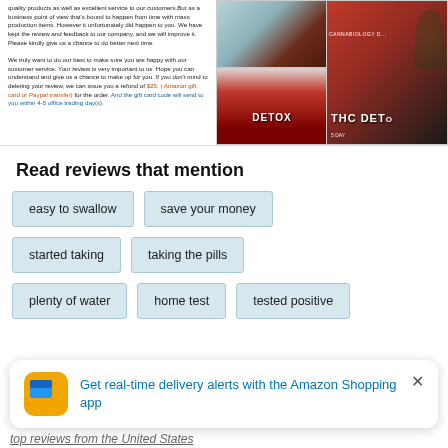quality products as well as excellent service to our customers. But as a business point of view that's bound to happen from time with mass production items. However it unfortunately did happen to you. We have kept the review and feedback to our company, and we will improve it. Please kindly give us a chance to do better next time.

We truly want to do our best to make sure you are happy with our customer service. Your review is very important to us. Hope you can understand and give us a chance to make up for you. If you don't mind to deleting your review, we can issue you a refund of $25. ( Amazon gift card or Paypal transfer) for the order. And the gift card code will send to you within 4-5 office trading day(s).
[Figure (photo): Product images showing a THC Detox supplement bottle]
Read reviews that mention
easy to swallow
save your money
started taking
taking the pills
plenty of water
home test
tested positive
Get real-time delivery alerts with the Amazon Shopping app